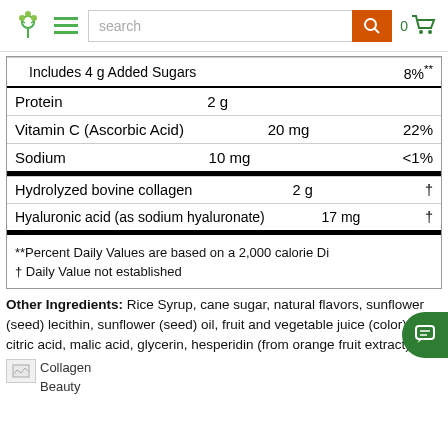[Figure (screenshot): Website navigation bar with green leaf logo, hamburger menu, search box, orange search button, and cart icon showing 0 items]
| Includes 4 g Added Sugars |  | 8%** |
| Protein | 2 g |  |
| Vitamin C (Ascorbic Acid) | 20 mg | 22% |
| Sodium | 10 mg | <1% |
| Hydrolyzed bovine collagen | 2 g | † |
| Hyaluronic acid (as sodium hyaluronate) | 17 mg | † |
**Percent Daily Values are based on a 2,000 calorie Di…
† Daily Value not established
Other Ingredients: Rice Syrup, cane sugar, natural flavors, sunflower (seed) lecithin, sunflower (seed) oil, fruit and vegetable juice (color), citric acid, malic acid, glycerin, hesperidin (from orange fruit extract)
Collagen Beauty